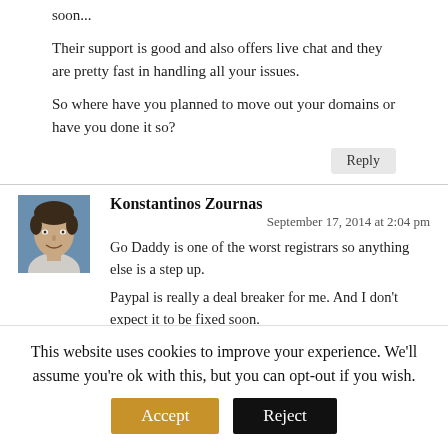soon...
Their support is good and also offers live chat and they are pretty fast in handling all your issues.
So where have you planned to move out your domains or have you done it so?
Reply
[Figure (photo): Profile photo of Konstantinos Zournas, a man in a light-colored shirt]
Konstantinos Zournas
September 17, 2014 at 2:04 pm
Go Daddy is one of the worst registrars so anything else is a step up.
Paypal is really a deal breaker for me. And I don't expect it to be fixed soon.
I am testing one registrar at the
This website uses cookies to improve your experience. We'll assume you're ok with this, but you can opt-out if you wish.
Accept
Reject